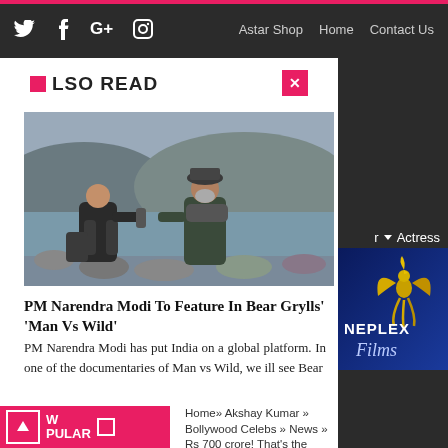Twitter Facebook G+ Instagram | Astar Shop Home Contact Us
ALSO READ
[Figure (photo): Two men crouching on rocky riverbank, one handing a flask to the other, mountains and river in the background]
PM Narendra Modi To Feature In Bear Grylls' 'Man Vs Wild'
PM Narendra Modi has put India on a global platform. In one of the documentaries of Man vs Wild, we ill see Bear
[Figure (logo): Neplex Films logo with golden phoenix bird on dark blue background]
r ▼ Actress
▼ More
W PULAR
Home» Akshay Kumar » Bollywood Celebs » News » Rs 700 crore! That's the